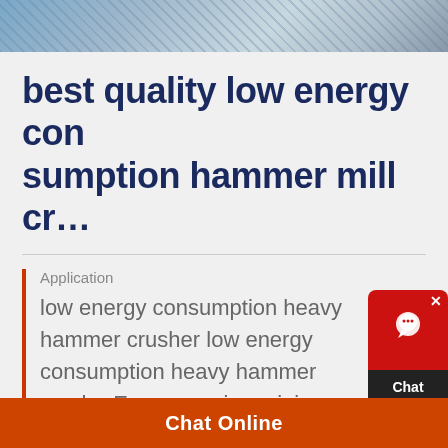[Figure (photo): Top banner photograph of industrial machinery/equipment, partially cropped]
best quality low energy consumption hammer mill cr…
Application
low energy consumption heavy hammer crusher low energy consumption heavy hammer crusherEnergy saving mining equipments,simple swinging jaw crusherlow energy wa
Chat Online